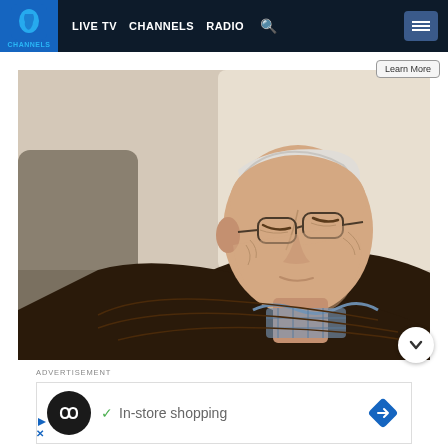LIVE TV  CHANNELS RADIO
[Figure (photo): Elderly man with glasses sleeping or dozing in an armchair, wearing dark brown sweater over blue plaid shirt, head resting on shoulder, against a beige cushion background]
ADVERTISEMENT
[Figure (screenshot): Advertisement banner showing circular logo with infinity-like symbol, checkmark, text 'In-store shopping', and blue navigation arrow icon]